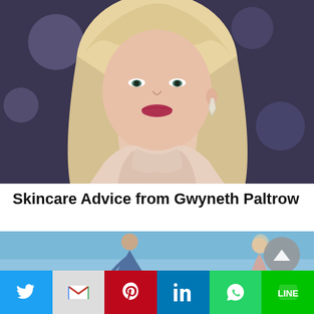[Figure (photo): Close-up portrait photo of Gwyneth Paltrow, blonde hair, wearing a light pink/cream high-neck outfit, against a blurred dark background with bokeh lights]
Skincare Advice from Gwyneth Paltrow
[Figure (photo): Partial view of two people (silhouettes/figures) against a blue sky background, with a gray scroll-to-top button overlay in upper right]
[Figure (other): Social media sharing bar with Twitter, Gmail, Pinterest, LinkedIn, WhatsApp, and LINE buttons]